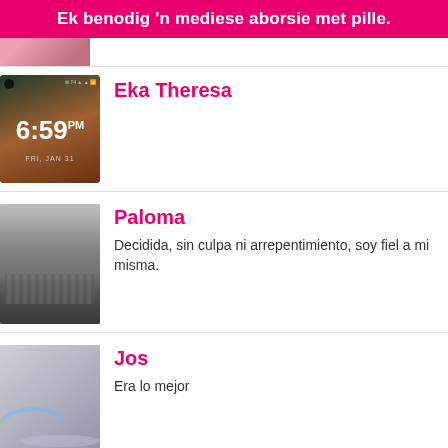Ek benodig 'n mediese aborsie met pille.
[Figure (photo): Partial view of a person's photo, cropped at top]
[Figure (screenshot): Phone lock screen showing time 6:59 PM, FRI, JAN 31]
Eka Theresa
[Figure (photo): Black and white photo of a crowd outdoors]
Paloma
Decidida, sin culpa ni arrepentimiento, soy fiel a mi misma.
[Figure (photo): Outdoor photo with rainbow arc visible on ground/pavement]
Jos
Era lo mejor